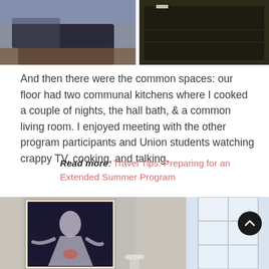[Figure (photo): Top portion of a photo showing interior room spaces, partially cropped at top. Dark scene with two panels visible.]
And then there were the common spaces: our floor had two communal kitchens where I cooked a couple of nights, the hall bath, & a common living room. I enjoyed meeting with the other program participants and Union students watching crappy TV, cooking, and talking.
Read more: Travel Tips: Preparing for an Extended Summer Program
[Figure (photo): Bottom photo showing a room interior with a framed artwork/poster on the left wall and a window with light coming through on the right. A scroll-to-top button is overlaid in the bottom right corner.]